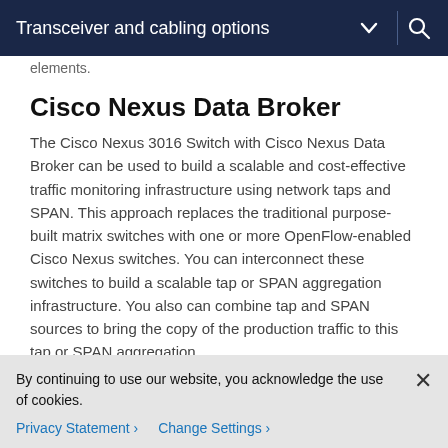Transceiver and cabling options
elements.
Cisco Nexus Data Broker
The Cisco Nexus 3016 Switch with Cisco Nexus Data Broker can be used to build a scalable and cost-effective traffic monitoring infrastructure using network taps and SPAN. This approach replaces the traditional purpose-built matrix switches with one or more OpenFlow-enabled Cisco Nexus switches. You can interconnect these switches to build a scalable tap or SPAN aggregation infrastructure. You also can combine tap and SPAN sources to bring the copy of the production traffic to this tap or SPAN aggregation infrastructure and additionally you can distribute the
By continuing to use our website, you acknowledge the use of cookies.
Privacy Statement › Change Settings ›